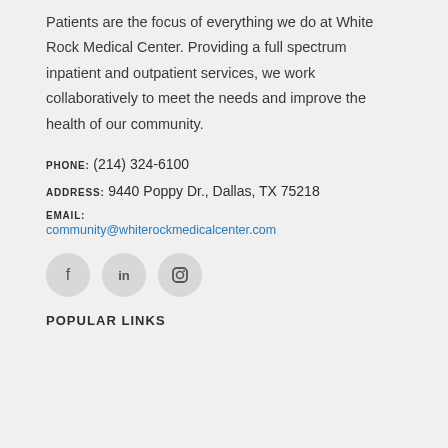Patients are the focus of everything we do at White Rock Medical Center. Providing a full spectrum inpatient and outpatient services, we work collaboratively to meet the needs and improve the health of our community.
PHONE: (214) 324-6100
ADDRESS: 9440 Poppy Dr., Dallas, TX 75218
EMAIL:
community@whiterockmedicalcenter.com
[Figure (other): Three circular social media icon buttons for Facebook, LinkedIn, and Instagram]
POPULAR LINKS